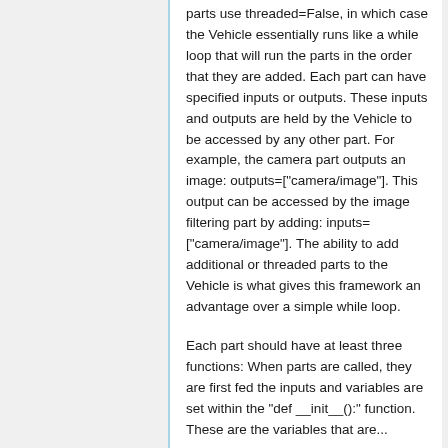parts use threaded=False, in which case the Vehicle essentially runs like a while loop that will run the parts in the order that they are added. Each part can have specified inputs or outputs. These inputs and outputs are held by the Vehicle to be accessed by any other part. For example, the camera part outputs an image: outputs=["camera/image"]. This output can be accessed by the image filtering part by adding: inputs= ["camera/image"]. The ability to add additional or threaded parts to the Vehicle is what gives this framework an advantage over a simple while loop.
Each part should have at least three functions: When parts are called, they are first fed the inputs and variables are set within the "def __init__():" function. These are the variables that are...